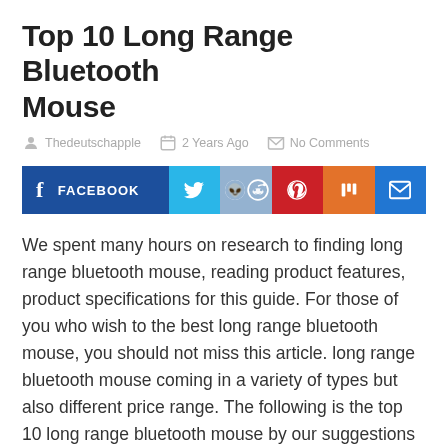Top 10 Long Range Bluetooth Mouse
Thedeutschapple   2 Years Ago   No Comments
[Figure (infographic): Social share buttons: Facebook, Twitter, Reddit, Pinterest, Mix, Email]
We spent many hours on research to finding long range bluetooth mouse, reading product features, product specifications for this guide. For those of you who wish to the best long range bluetooth mouse, you should not miss this article. long range bluetooth mouse coming in a variety of types but also different price range. The following is the top 10 long range bluetooth mouse by our suggestions
771 reviews analysed